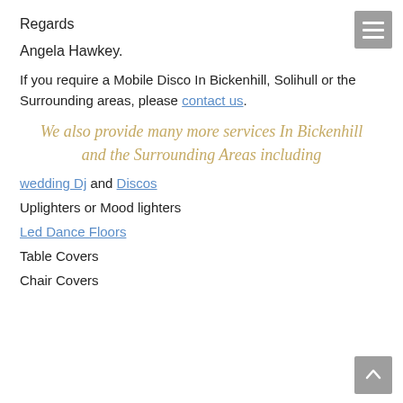Regards
Angela Hawkey.
If you require a Mobile Disco In Bickenhill, Solihull or the Surrounding areas, please contact us.
We also provide many more services In Bickenhill and the Surrounding Areas including
wedding Dj and Discos
Uplighters or Mood lighters
Led Dance Floors
Table Covers
Chair Covers